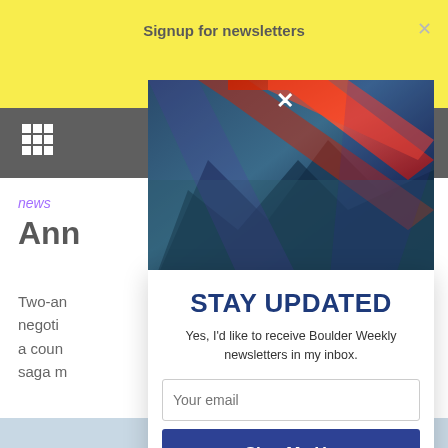Signup for newsletters
[Figure (photo): Mountain landscape photo with blue and red tones, used as modal header image]
STAY UPDATED
Yes, I'd like to receive Boulder Weekly newsletters in my inbox.
news
Ann...ote
Two-an... negoti... a coun... saga m...
By Will Brendza - September 23, 2021